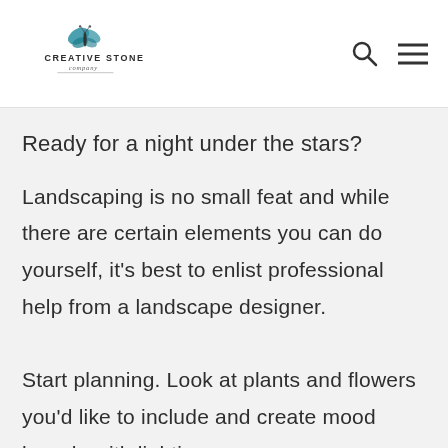Creative Stone Company
Ready for a night under the stars?
Landscaping is no small feat and while there are certain elements you can do yourself, it’s best to enlist professional help from a landscape designer.
Start planning. Look at plants and flowers you’d like to include and create mood boards with lighting,